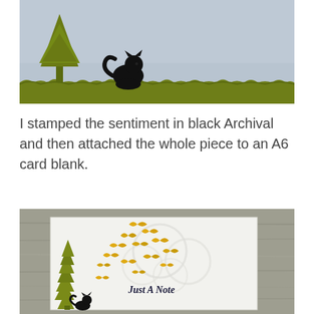[Figure (photo): A handmade card showing a black cat silhouette sitting on grass next to an olive green tree silhouette against a light blue-grey sky background.]
I stamped the sentiment in black Archival and then attached the whole piece to an A6 card blank.
[Figure (photo): A handmade greeting card on a grey wood background. The card features an olive green tree silhouette on the left, yellow/golden butterflies flying upward in the middle, embossed cloud circles in the background, a small black cat silhouette at the bottom, and the text 'Just A Note' in bold italic.]